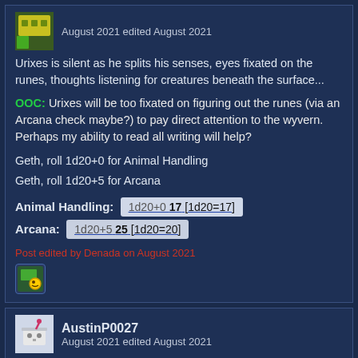August 2021 edited August 2021
Urixes is silent as he splits his senses, eyes fixated on the runes, thoughts listening for creatures beneath the surface...
OOC: Urixes will be too fixated on figuring out the runes (via an Arcana check maybe?) to pay direct attention to the wyvern. Perhaps my ability to read all writing will help?
Geth, roll 1d20+0 for Animal Handling
Geth, roll 1d20+5 for Arcana
Animal Handling: 1d20+0 17 [1d20=17]
Arcana: 1d20+5 25 [1d20=20]
Post edited by Denada on August 2021
AustinP0027
August 2021 edited August 2021